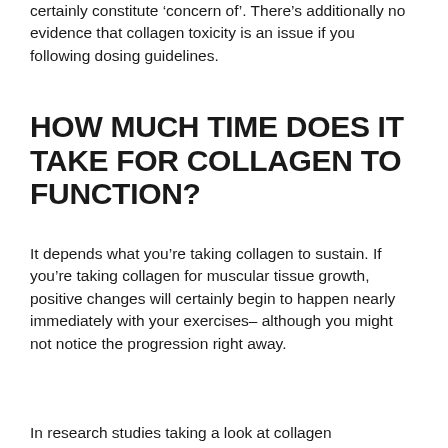certainly constitute 'concern of'. There's additionally no evidence that collagen toxicity is an issue if you following dosing guidelines.
HOW MUCH TIME DOES IT TAKE FOR COLLAGEN TO FUNCTION?
It depends what you’re taking collagen to sustain. If you’re taking collagen for muscular tissue growth, positive changes will certainly begin to happen nearly immediately with your exercises– although you might not notice the progression right away.
In research studies taking a look at collagen